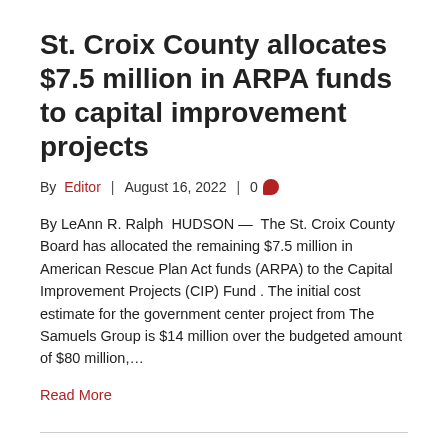St. Croix County allocates $7.5 million in ARPA funds to capital improvement projects
By Editor | August 16, 2022 | 0
By LeAnn R. Ralph  HUDSON —  The St. Croix County Board has allocated the remaining $7.5 million in American Rescue Plan Act funds (ARPA) to the Capital Improvement Projects (CIP) Fund . The initial cost estimate for the government center project from The Samuels Group is $14 million over the budgeted amount of $80 million,…
Read More
Boyceville Village Board listens to